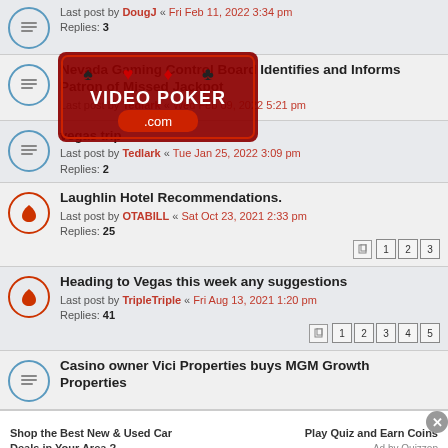Last post by DougJ « Fri Feb 11, 2022 3:34 pm
Replies: 3
Nevada Gaming Control Board Identifies and Informs Patron of Missed Jackpot
Last post by Tedlark « Wed Feb 09, 2022 5:21 pm
vegas trip
Last post by Tedlark « Tue Jan 25, 2022 3:09 pm
Replies: 2
Laughlin Hotel Recommendations.
Last post by OTABILL « Sat Oct 23, 2021 2:33 pm
Replies: 25
Heading to Vegas this week any suggestions
Last post by TripleTriple « Fri Aug 13, 2021 1:20 pm
Replies: 41
Casino owner Vici Properties buys MGM Growth Properties
Shop the Best New & Used Car Deals in Your Area ?
Play Quiz and Earn Coins
Ad by Quizzop
This site uses cookies for personalized content and analytics. By continuing to use this site, you agree to this use. Close